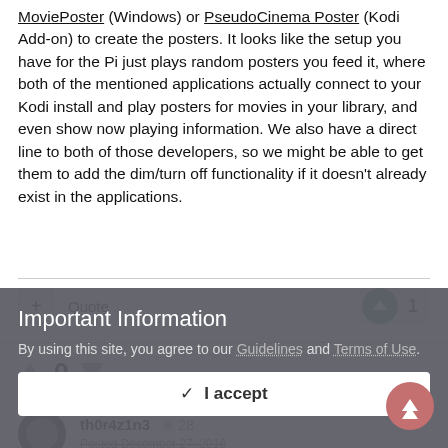MoviePoster (Windows) or PseudoCinema Poster (Kodi Add-on) to create the posters. It looks like the setup you have for the Pi just plays random posters you feed it, where both of the mentioned applications actually connect to your Kodi install and play posters for movies in your library, and even show now playing information. We also have a direct line to both of those developers, so we might be able to get them to add the dim/turn off functionality if it doesn't already exist in the applications.
+ Quote | ▲ 1
▲ 0 ▼
th0r4z1n3 ⊕ 28  Posted December 27, 2016
Important Information
By using this site, you agree to our Guidelines and Terms of Use.
✓ I accept